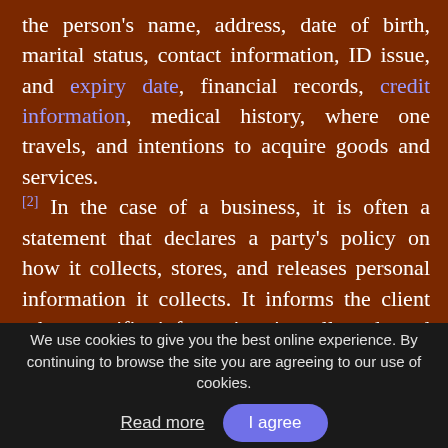the person's name, address, date of birth, marital status, contact information, ID issue, and expiry date, financial records, credit information, medical history, where one travels, and intentions to acquire goods and services. [2] In the case of a business, it is often a statement that declares a party's policy on how it collects, stores, and releases personal information it collects. It informs the client what specific information is collected, and whether it is kept confidential, shared with partners, or sold to other firms or enterprises.[3] Privacy policies typically represent a broader, more generalized treatment, as opposed to data use statements,
We use cookies to give you the best online experience. By continuing to browse the site you are agreeing to our use of cookies. Read more | I agree